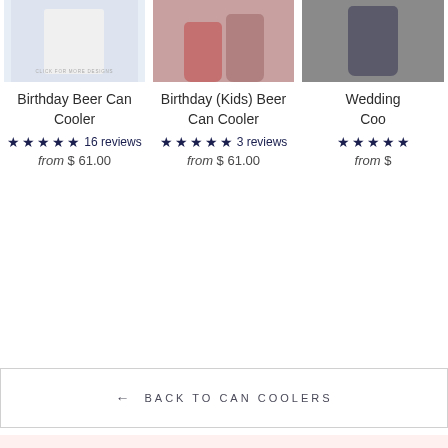[Figure (photo): Product image of Birthday Beer Can Cooler - shirt/white background with click for more designs text]
Birthday Beer Can Cooler
★★★★★ 16 reviews
from $ 61.00
[Figure (photo): Product image of Birthday (Kids) Beer Can Cooler - pink/mauve colored cans]
Birthday (Kids) Beer Can Cooler
★★★★★ 3 reviews
from $ 61.00
[Figure (photo): Product image of Wedding Can Cooler - dark gray colored can]
Wedding Coo
★★★★★
from $
← BACK TO CAN COOLERS